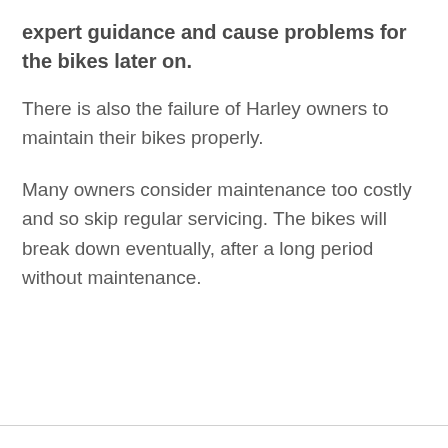expert guidance and cause problems for the bikes later on.
There is also the failure of Harley owners to maintain their bikes properly.
Many owners consider maintenance too costly and so skip regular servicing. The bikes will break down eventually, after a long period without maintenance.